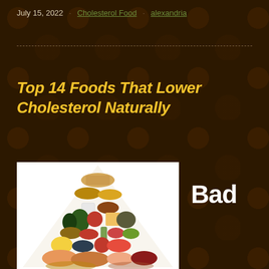July 15, 2022   Cholesterol Food   alexandria
Top 14 Foods That Lower Cholesterol Naturally
[Figure (photo): Food pyramid illustration showing various healthy foods arranged in a triangular/pyramid shape on white background, including grains, vegetables, fruits, proteins, dairy, nuts, and oils.]
Bad